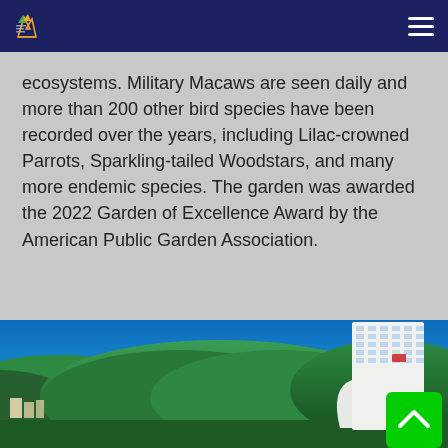Navigation bar with logo and hamburger menu
ecosystems. Military Macaws are seen daily and more than 200 other bird species have been recorded over the years, including Lilac-crowned Parrots, Sparkling-tailed Woodstars, and many more endemic species. The garden was awarded the 2022 Garden of Excellence Award by the American Public Garden Association.
[Figure (photo): Outdoor photo showing a hillside city with green forested hills, blue sky, and a tall white multi-story hotel/resort building on the right side. A green scroll-to-top button is visible in the bottom right corner.]